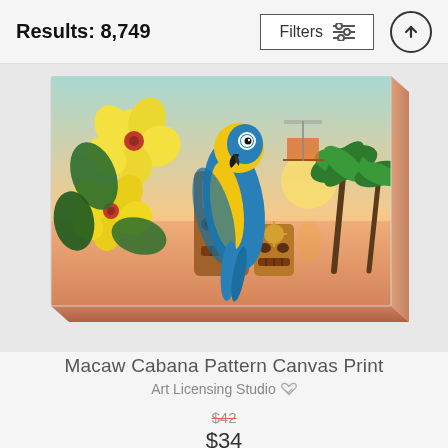Results: 8,749
[Figure (photo): Canvas print of a tropical beach scene with a blue and yellow macaw parrot perched on a tiki totem, yellow hibiscus flowers, palm trees, sunset over water, and beach chairs in the background. The canvas is shown with a 3D perspective showing the side edge.]
Macaw Cabana Pattern Canvas Print
Art Licensing Studio
$42
$34